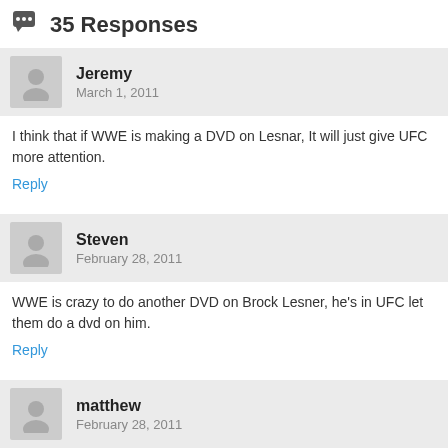35 Responses
Jeremy
March 1, 2011
I think that if WWE is making a DVD on Lesnar, It will just give UFC more attention.
Reply
Steven
February 28, 2011
WWE is crazy to do another DVD on Brock Lesner, he's in UFC let them do a dvd on him.
Reply
matthew
February 28, 2011
How about 2 disc set of AWA Super Clash, I think there was only 2